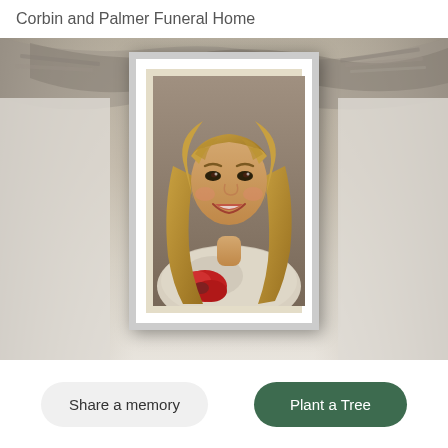Corbin and Palmer Funeral Home
[Figure (photo): Framed portrait photograph of a young woman with blonde hair and bangs, smiling, wearing a white lace top and holding a red flower. The photo is set in a white frame with cream matting, displayed against a sepia-toned background of stacked photographs.]
Share a memory
Plant a Tree